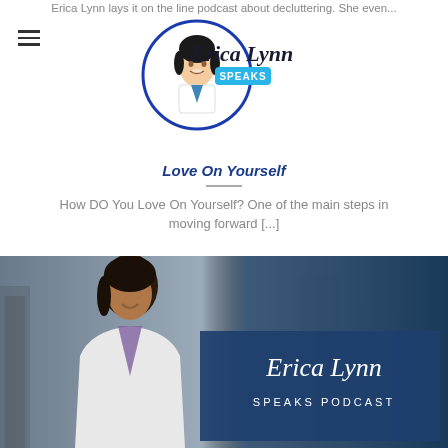Erica Lynn lays it on the line podcast about decluttering. She even...
[Figure (logo): Erica Lynn Speaks logo — circular illustration of a woman in white coat with script text 'Erica Lynn' and blue 'SPEAKS' badge]
Love On Yourself
How DO You Love On Yourself? One of the main steps in moving forward [...]
5 Ways To Your Next Level
What does it mean to get to the next level? Levels are points in [...]
[Figure (photo): Erica Lynn Speaks Podcast promotional banner — woman in white coat smiling, with 'Erica Lynn Speaks Podcast' script text overlay on dark blue background]